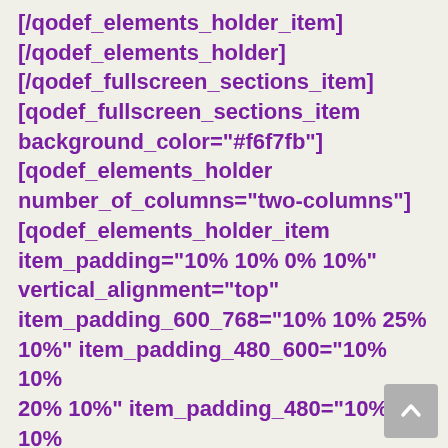[/qodef_elements_holder_item]
[/qodef_elements_holder]
[/qodef_fullscreen_sections_item]
[qodef_fullscreen_sections_item background_color="#f6f7fb"]
[qodef_elements_holder number_of_columns="two-columns"]
[qodef_elements_holder_item item_padding="10% 10% 0% 10%" vertical_alignment="top" item_padding_600_768="10% 10% 25% 10%" item_padding_480_600="10% 10% 20% 10%" item_padding_480="10% 10% 20% 10%"][qodef_custom_font font_family="Poppins" font_size="60"